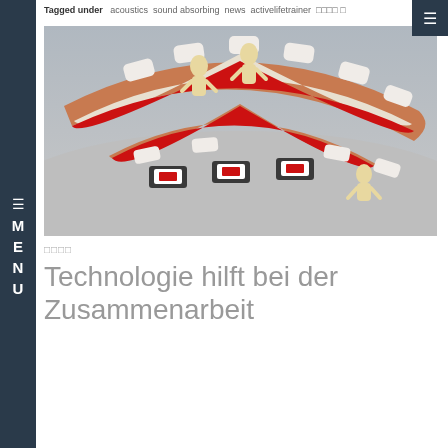Tagged under   acoustics sound absorbing   news   activelifetrainer   □□□□ □
[Figure (photo): 3D render of a curved gym/training track with mannequin figures, treadmill-like machines with red trim, wooden accents and white padding panels, viewed from above at an angle.]
□□□□
Technologie hilft bei der Zusammenarbeit